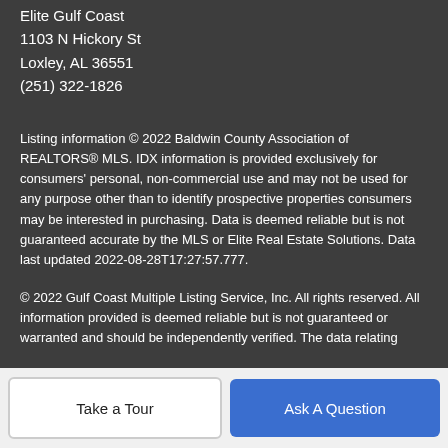Elite Gulf Coast
1103 N Hickory St
Loxley, AL 36551
(251) 322-1826
Listing information © 2022 Baldwin County Association of REALTORS® MLS. IDX information is provided exclusively for consumers' personal, non-commercial use and may not be used for any purpose other than to identify prospective properties consumers may be interested in purchasing. Data is deemed reliable but is not guaranteed accurate by the MLS or Elite Real Estate Solutions. Data last updated 2022-08-28T17:27:57.777.
© 2022 Gulf Coast Multiple Listing Service, Inc. All rights reserved. All information provided is deemed reliable but is not guaranteed or warranted and should be independently verified. The data relating
Take a Tour
Ask A Question